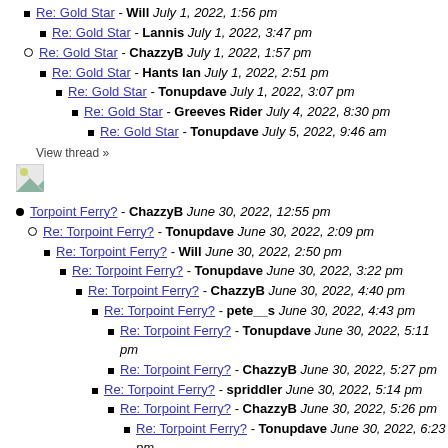Re: Gold Star - Will July 1, 2022, 1:56 pm
Re: Gold Star - Lannis July 1, 2022, 3:47 pm
Re: Gold Star - ChazzyB July 1, 2022, 1:57 pm
Re: Gold Star - Hants Ian July 1, 2022, 2:51 pm
Re: Gold Star - Tonupdave July 1, 2022, 3:07 pm
Re: Gold Star - Greeves Rider July 4, 2022, 8:30 pm
Re: Gold Star - Tonupdave July 5, 2022, 9:46 am
View thread »
[Figure (photo): Small broken image placeholder icon]
Torpoint Ferry? - ChazzyB June 30, 2022, 12:55 pm
Re: Torpoint Ferry? - Tonupdave June 30, 2022, 2:09 pm
Re: Torpoint Ferry? - Will June 30, 2022, 2:50 pm
Re: Torpoint Ferry? - Tonupdave June 30, 2022, 3:22 pm
Re: Torpoint Ferry? - ChazzyB June 30, 2022, 4:40 pm
Re: Torpoint Ferry? - pete__s June 30, 2022, 4:43 pm
Re: Torpoint Ferry? - Tonupdave June 30, 2022, 5:11 pm
Re: Torpoint Ferry? - ChazzyB June 30, 2022, 5:27 pm
Re: Torpoint Ferry? - spriddler June 30, 2022, 5:14 pm
Re: Torpoint Ferry? - ChazzyB June 30, 2022, 5:26 pm
Re: Torpoint Ferry? - Tonupdave June 30, 2022, 6:23 pm
Re: Torpoint Ferry? - Tonupdave June 30, 2022, 6:47 pm
Re: Torpoint Ferry? - ChazzyB June 30, 2022, 10:59 pm
Re: Torpoint Ferry? - Tonupdave July 1, 2022, 8:20 am